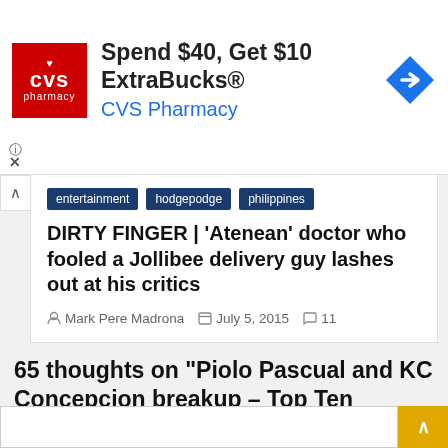[Figure (infographic): CVS Pharmacy advertisement banner. Red CVS pharmacy logo on left. Text reads 'Spend $40, Get $10 ExtraBucks® CVS Pharmacy'. Blue diamond navigation icon on right.]
[Figure (screenshot): Website navigation category tags: entertainment, hodgepodge, philippines]
DIRTY FINGER | ‘Atenean’ doctor who fooled a Jollibee delivery guy lashes out at his critics
Mark Pere Madrona   July 5, 2015   11
65 thoughts on “Piolo Pascual and KC Concepcion breakup – Top Ten Celebrity Reactions”